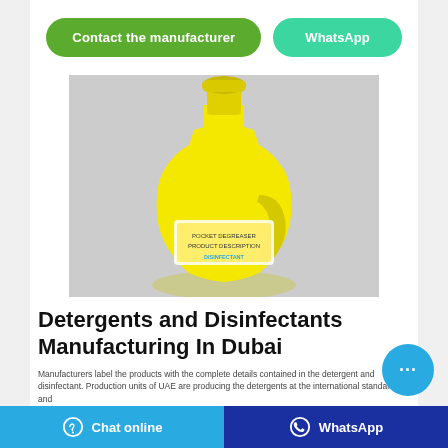[Figure (other): Green 'Contact the manufacturer' button and teal 'WhatsApp' button]
[Figure (photo): Yellow plastic detergent/disinfectant bottle with label, on a light grey background]
Detergents and Disinfectants Manufacturing In Dubai
Manufacturers label the products with the complete details contained in the detergent and disinfectant. Production units of UAE are producing the detergents at the international standards and
Chat online   WhatsApp